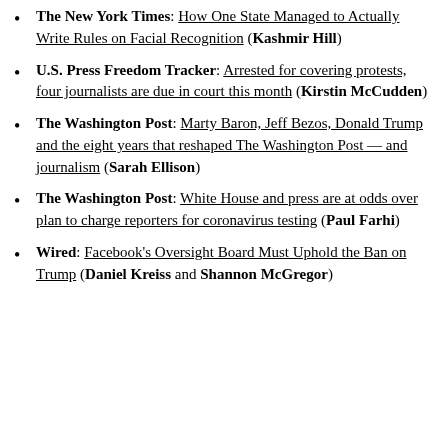The New York Times: How One State Managed to Actually Write Rules on Facial Recognition (Kashmir Hill)
U.S. Press Freedom Tracker: Arrested for covering protests, four journalists are due in court this month (Kirstin McCudden)
The Washington Post: Marty Baron, Jeff Bezos, Donald Trump and the eight years that reshaped The Washington Post — and journalism (Sarah Ellison)
The Washington Post: White House and press are at odds over plan to charge reporters for coronavirus testing (Paul Farhi)
Wired: Facebook's Oversight Board Must Uphold the Ban on Trump (Daniel Kreiss and Shannon McGregor)